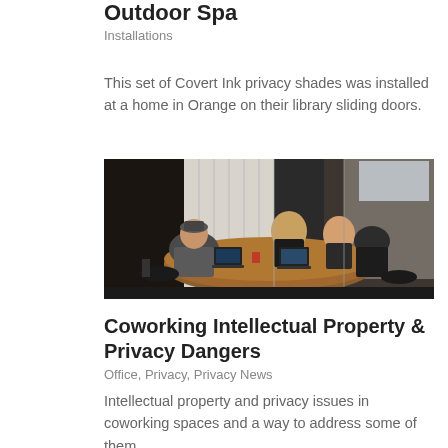Outdoor Spa
Installations
This set of Covert Ink privacy shades was installed at a home in Orange on their library sliding doors.
[Figure (photo): People sitting around a conference table with laptops in an office with glass partition walls]
Coworking Intellectual Property & Privacy Dangers
Office, Privacy, Privacy News
Intellectual property and privacy issues in coworking spaces and a way to address some of them.